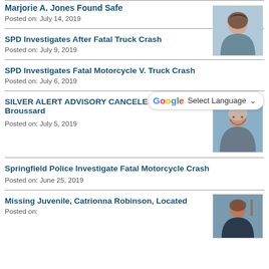Marjorie A. Jones Found Safe
Posted on: July 14, 2019
SPD Investigates After Fatal Truck Crash
Posted on: July 9, 2019
SPD Investigates Fatal Motorcycle V. Truck Crash
Posted on: July 6, 2019
SILVER ALERT ADVISORY CANCELED: Kirk L. Broussard
Posted on: July 5, 2019
Springfield Police Investigate Fatal Motorcycle Crash
Posted on: June 25, 2019
Missing Juvenile, Catrionna Robinson, Located
Posted on: June 25, 2019